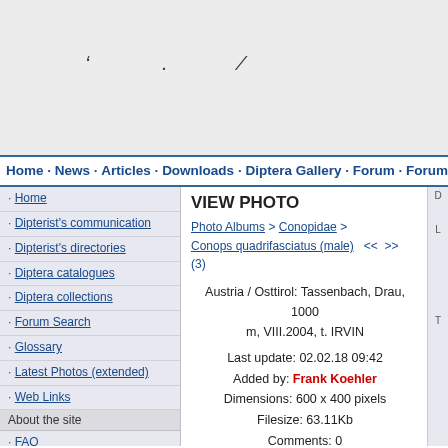[Figure (screenshot): Top banner area of diptera.info website with faint dark marks/silhouettes]
Home · News · Articles · Downloads · Diptera Gallery · Forum · Forum S
· Home
· Dipterist's communication
· Dipterist's directories
· Diptera catalogues
· Diptera collections
· Forum Search
· Glossary
· Latest Photos (extended)
· Web Links
About the site
· FAQ
· Forum - Code of Conduct
· Site changes (17.11.2011)
· Write Webmaster
· Sending material and visiting
Gallery Links
Users Online
VIEW PHOTO
Photo Albums > Conopidae > Conops quadrifasciatus (male)  <<  >>  (3)
Austria / Osttirol: Tassenbach, Drau, 1000 m, VIII.2004, t. IRVIN
Last update: 02.02.18 09:42
Added by: Frank Koehler
Dimensions: 600 x 400 pixels
Filesize: 63.11Kb
Comments: 0
Rating: None
Number of views: 3064
WARNING!
Report any errors in this Gallery at
https://diptera.info/forum/viewforum.php?